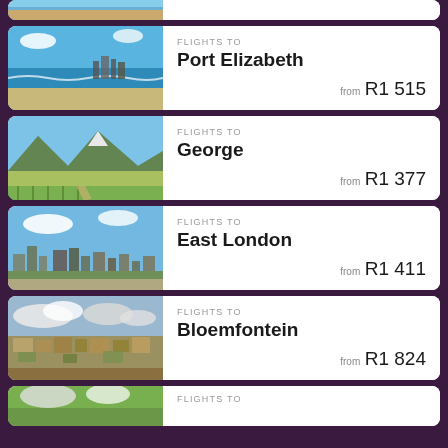[Figure (photo): Partial card at top showing a beach scene]
FLIGHTS TO Port Elizabeth from R1 515
FLIGHTS TO George from R1 377
FLIGHTS TO East London from R1 411
FLIGHTS TO Bloemfontein from R1 824
[Figure (photo): Partial card at bottom showing a landscape scene with FLIGHTS TO text]